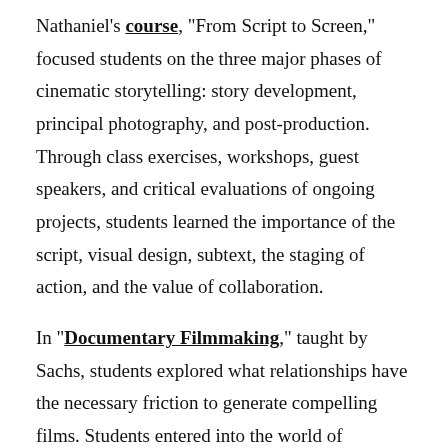Nathaniel's course, "From Script to Screen," focused students on the three major phases of cinematic storytelling: story development, principal photography, and post-production. Through class exercises, workshops, guest speakers, and critical evaluations of ongoing projects, students learned the importance of the script, visual design, subtext, the staging of action, and the value of collaboration.
In "Documentary Filmmaking," taught by Sachs, students explored what relationships have the necessary friction to generate compelling films. Students entered into the world of nonfiction filmmaking, where production assignments, screenings, and seminar discussions pushed them to examine the formal, social, and political concerns within their lives.